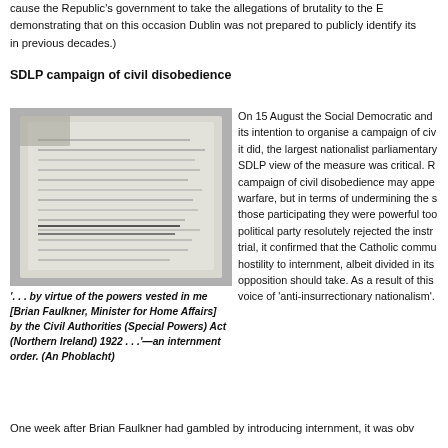cause the Republic's government to take the allegations of brutality to the E... demonstrating that on this occasion Dublin was not prepared to publicly identify its... in previous decades.)
SDLP campaign of civil disobedience
[Figure (photo): Black and white photograph of a typed document, appearing to be an internment order signed by Brian Faulkner.]
'. . . by virtue of the powers vested in me [Brian Faulkner, Minister for Home Affairs] by the Civil Authorities (Special Powers) Act (Northern Ireland) 1922 . . .'—an internment order. (An Phoblacht)
On 15 August the Social Democratic and ... its intention to organise a campaign of civ... it did, the largest nationalist parliamentary... SDLP view of the measure was critical. R... campaign of civil disobedience may appe... warfare, but in terms of undermining the s... those participating they were powerful too... political party resolutely rejected the instr... trial, it confirmed that the Catholic commu... hostility to internment, albeit divided in its... opposition should take. As a result of this... voice of 'anti-insurrectionary nationalism'.
One week after Brian Faulkner had gambled by introducing internment, it was obv...